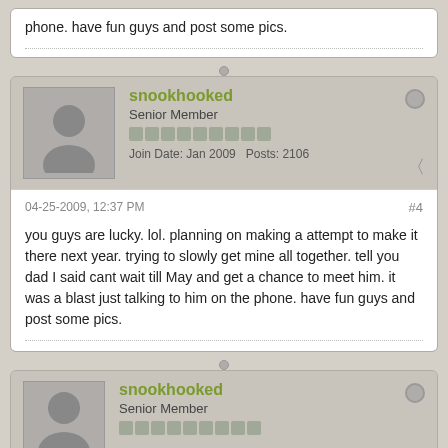phone. have fun guys and post some pics.
snookhooked
Senior Member
Join Date: Jan 2009   Posts: 2106
04-25-2009, 12:37 PM
#4
you guys are lucky. lol. planning on making a attempt to make it there next year. trying to slowly get mine all together. tell you dad I said cant wait till May and get a chance to meet him. it was a blast just talking to him on the phone. have fun guys and post some pics.
snookhooked
Senior Member